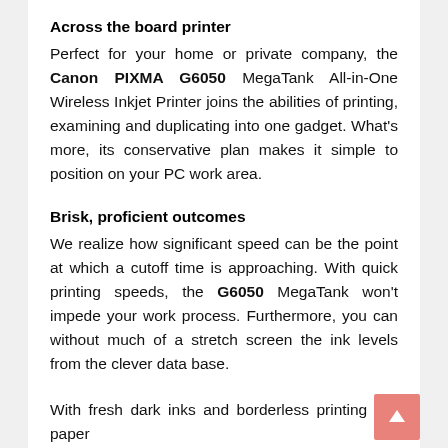Across the board printer
Perfect for your home or private company, the Canon PIXMA G6050 MegaTank All-in-One Wireless Inkjet Printer joins the abilities of printing, examining and duplicating into one gadget. What's more, its conservative plan makes it simple to position on your PC work area.
Brisk, proficient outcomes
We realize how significant speed can be the point at which a cutoff time is approaching. With quick printing speeds, the G6050 MegaTank won't impede your work process. Furthermore, you can without much of a stretch screen the ink levels from the clever data base.
With fresh dark inks and borderless printing (for paper